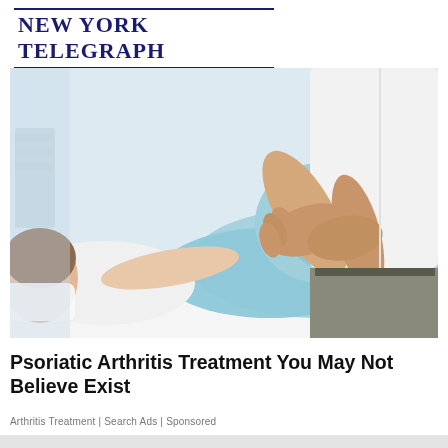New York Telegraph — Title originated in 1845
[Figure (photo): Medical professional examining or treating a patient's knee. A woman in light blue/teal leggings lies on a treatment table, while a healthcare provider in a white shirt and grey pants holds and examines her bent knee with both hands.]
Psoriatic Arthritis Treatment You May Not Believe Exist
Arthritis Treatment | Search Ads | Sponsored